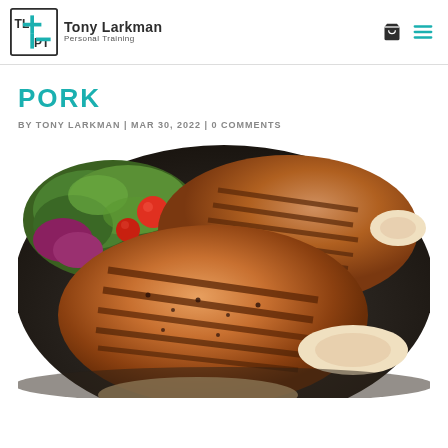Tony Larkman Personal Training
PORK
BY TONY LARKMAN | MAR 30, 2022 | 0 COMMENTS
[Figure (photo): Two grilled pork chops with grill marks on a dark plate, garnished with a green salad with cherry tomatoes in the background]